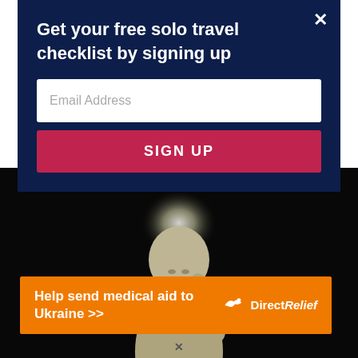Get your free solo travel checklist by signing up
Email Address
SIGN UP
[Figure (photo): A glowing illuminated statue or figurine against a dark black background, showing a humanoid figure bowing or leaning forward with bright light emanating from the head area]
[Figure (infographic): Orange advertisement banner reading 'Help send medical aid to Ukraine >>' with Direct Relief logo on the right]
×